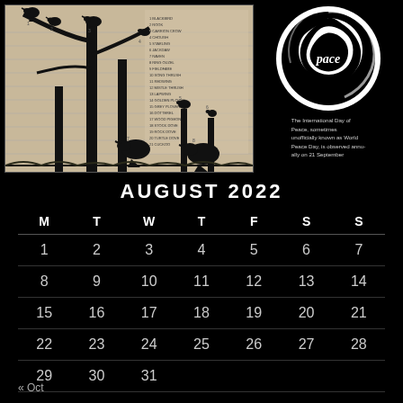[Figure (photo): Black and white silhouette art of birds on bare tree branches and fence posts, overlaid on a vintage printed page with numbered list]
[Figure (logo): International Day of Peace / World Peace Day logo: black circle with white swirling dove and the word 'pace' in the center]
The International Day of Peace, sometimes unofficially known as World Peace Day, is observed annually on 21 September
AUGUST 2022
| M | T | W | T | F | S | S |
| --- | --- | --- | --- | --- | --- | --- |
| 1 | 2 | 3 | 4 | 5 | 6 | 7 |
| 8 | 9 | 10 | 11 | 12 | 13 | 14 |
| 15 | 16 | 17 | 18 | 19 | 20 | 21 |
| 22 | 23 | 24 | 25 | 26 | 27 | 28 |
| 29 | 30 | 31 |  |  |  |  |
« Oct